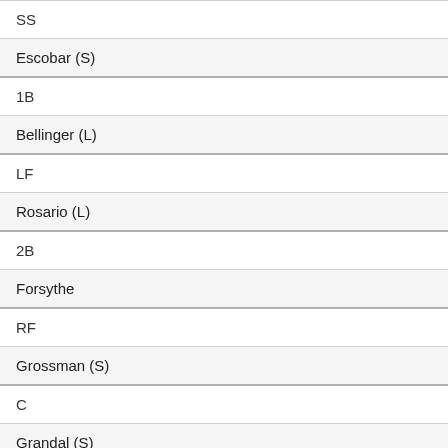| SS |
| Escobar (S) |
| 1B |
| Bellinger (L) |
| LF |
| Rosario (L) |
| 2B |
| Forsythe |
| RF |
| Grossman (S) |
| C |
| Grandal (S) |
| C |